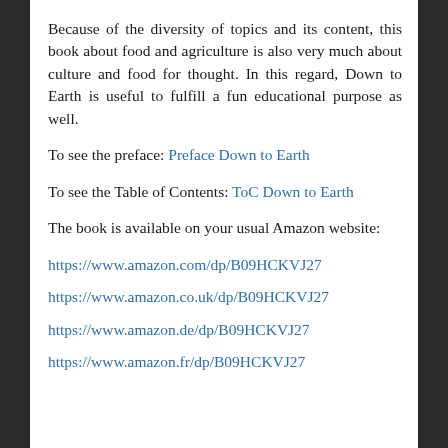Because of the diversity of topics and its content, this book about food and agriculture is also very much about culture and food for thought. In this regard, Down to Earth is useful to fulfill a fun educational purpose as well.
To see the preface: Preface Down to Earth
To see the Table of Contents: ToC Down to Earth
The book is available on your usual Amazon website:
https://www.amazon.com/dp/B09HCKVJ27
https://www.amazon.co.uk/dp/B09HCKVJ27
https://www.amazon.de/dp/B09HCKVJ27
https://www.amazon.fr/dp/B09HCKVJ27